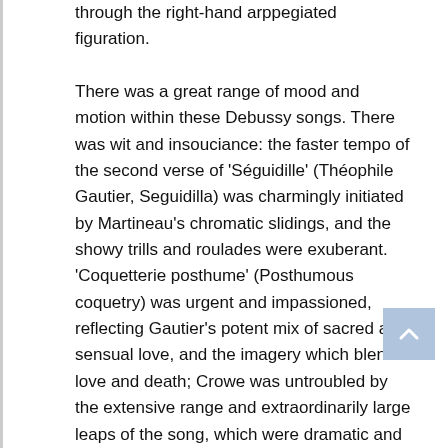through the right-hand arppegiated figuration.

There was a great range of mood and motion within these Debussy songs. There was wit and insouciance: the faster tempo of the second verse of 'Séguidille' (Théophile Gautier, Seguidilla) was charmingly initiated by Martineau's chromatic slidings, and the showy trills and roulades were exuberant. 'Coquetterie posthume' (Posthumous coquetry) was urgent and impassioned, reflecting Gautier's potent mix of sacred and sensual love, and the imagery which blends love and death; Crowe was untroubled by the extensive range and extraordinarily large leaps of the song, which were dramatic and arresting. The octave grace note which opens 'Mandoline' (Paul Verlaine, Mandolin) signalled the sprightliness and suitability of the song. Martineau's lively accompaniment